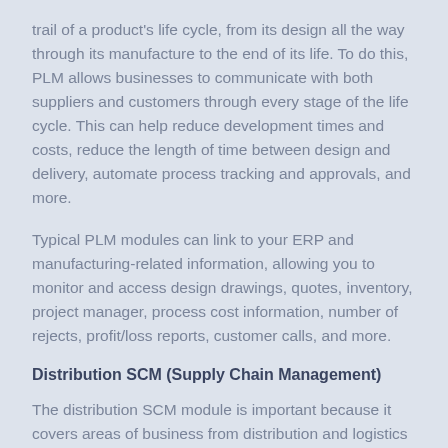trail of a product's life cycle, from its design all the way through its manufacture to the end of its life. To do this, PLM allows businesses to communicate with both suppliers and customers through every stage of the life cycle. This can help reduce development times and costs, reduce the length of time between design and delivery, automate process tracking and approvals, and more.
Typical PLM modules can link to your ERP and manufacturing-related information, allowing you to monitor and access design drawings, quotes, inventory, project manager, process cost information, number of rejects, profit/loss reports, customer calls, and more.
Distribution SCM (Supply Chain Management)
The distribution SCM module is important because it covers areas of business from distribution and logistics to planning and supply chain. Th